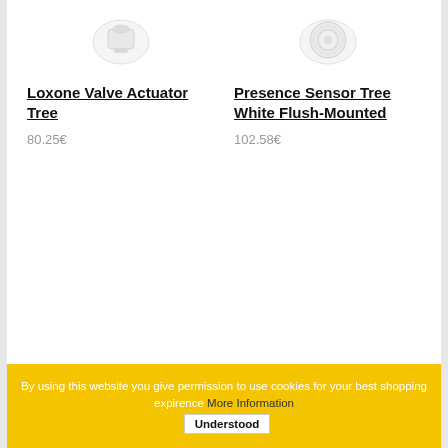[Figure (photo): Product image of Loxone Valve Actuator Tree - white cylindrical device on white background]
Loxone Valve Actuator Tree
80.25€
[Figure (photo): Product image of Presence Sensor Tree White Flush-Mounted - white circular sensor on white background]
Presence Sensor Tree White Flush-Mounted
102.58€
By using this website you give permission to use cookies for your best shopping expirence More Information Understood